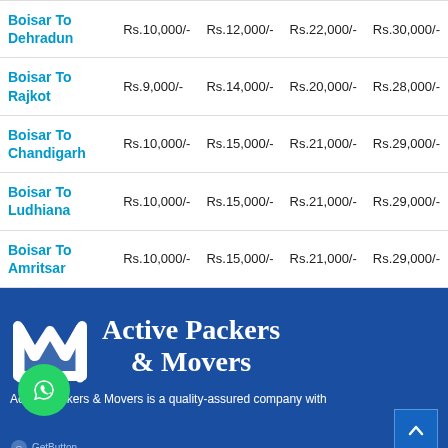| Route | Price 1 | Price 2 | Price 3 | Price 4 |
| --- | --- | --- | --- | --- |
| Boisar To Dehradun | Rs.10,000/- | Rs.12,000/- | Rs.22,000/- | Rs.30,000/- |
| Boisar To Rajkot | Rs.9,000/- | Rs.14,000/- | Rs.20,000/- | Rs.28,000/- |
| Boisar To Chandigarh | Rs.10,000/- | Rs.15,000/- | Rs.21,000/- | Rs.29,000/- |
| Boisar To Ludhiana | Rs.10,000/- | Rs.15,000/- | Rs.21,000/- | Rs.29,000/- |
| Boisar To Amritsar | Rs.10,000/- | Rs.15,000/- | Rs.21,000/- | Rs.29,000/- |
[Figure (logo): Active Packers and Movers logo with white M-shape icon and WhatsApp green circle button]
Active Packers & Movers is a quality-assured company with